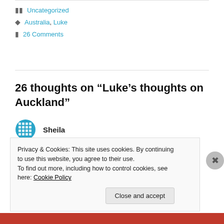Uncategorized
Australia, Luke
26 Comments
26 thoughts on “Luke’s thoughts on Auckland”
Sheila
November 10, 2015 at 12:07 pm
Privacy & Cookies: This site uses cookies. By continuing to use this website, you agree to their use.
To find out more, including how to control cookies, see here: Cookie Policy